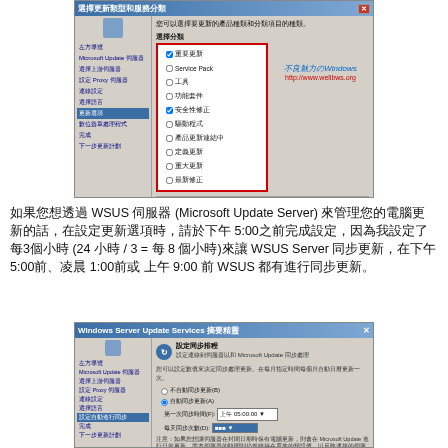[Figure (screenshot): Windows Update configuration dialog showing product type selection with checkboxes for Service Pack, tools, features, security updates, critical updates, definition updates, and others. A watermark shows 不良魅力のWindows and http://www.wellbws.org]
如果您想透過 WSUS 伺服器 (Microsoft Update Server) 來管理您的電腦更新的話，在設定更新選項時，請於下午 5:00之前完成設定，因為我設定了每3個小時 (24 小時 / 3 = 每 8 個小時)來讓 WSUS Server 同步更新，在下午 5:00前、凌晨 1:00前或 上午 9:00 前 WSUS 都有進行同步更新。
[Figure (screenshot): Windows Server Update Services configuration dialog for setting synchronization schedule with Microsoft Update. Shows radio buttons for synchronization options and time fields showing 上午 05:00:00 (5:00 AM)]